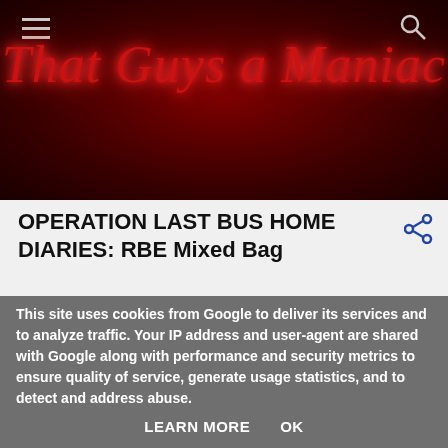That Guys a Maniac
OPERATION LAST BUS HOME DIARIES: RBE Mixed Bag
This site uses cookies from Google to deliver its services and to analyze traffic. Your IP address and user-agent are shared with Google along with performance and security metrics to ensure quality of service, generate usage statistics, and to detect and address abuse.
LEARN MORE   OK